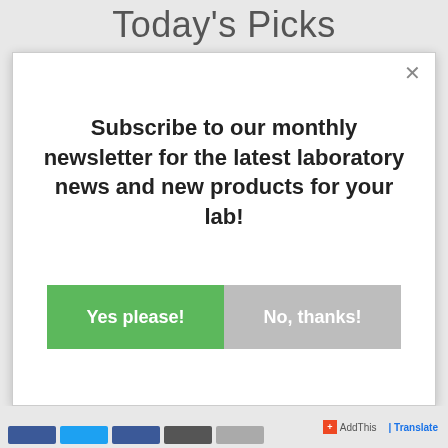Today's Picks
[Figure (screenshot): Modal popup dialog with close button (×), bold text reading 'Subscribe to our monthly newsletter for the latest laboratory news and new products for your lab!', and two buttons: green 'Yes please!' and gray 'No, thanks!']
AddThis | Translate